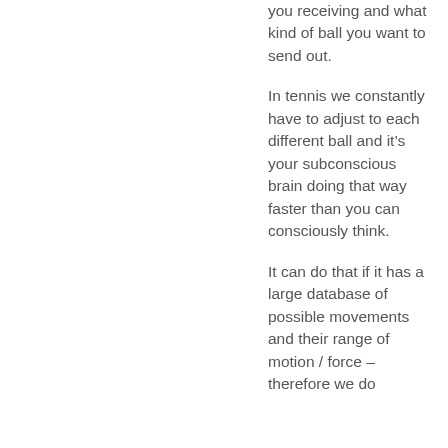you receiving and what kind of ball you want to send out.
In tennis we constantly have to adjust to each different ball and it’s your subconscious brain doing that way faster than you can consciously think.
It can do that if it has a large database of possible movements and their range of motion / force – therefore we do